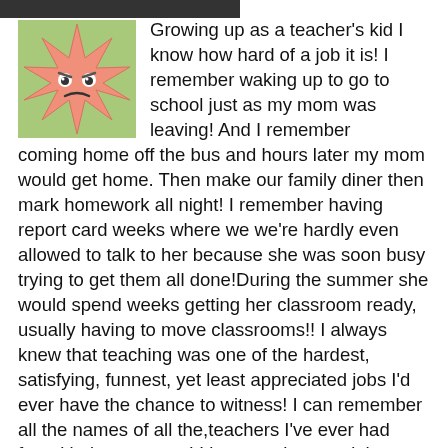[Figure (illustration): Star-shaped cartoon avatar with eyes and a face, pink/salmon color on a green background square]
Growing up as a teacher's kid I know how hard of a job it is! I remember waking up to go to school just as my mom was leaving! And I remember coming home off the bus and hours later my mom would get home. Then make our family diner then mark homework all night! I remember having report card weeks where we we're hardly even allowed to talk to her because she was soon busy trying to get them all done!During the summer she would spend weeks getting her classroom ready, usually having to move classrooms!! I always knew that teaching was one of the hardest, satisfying, funnest, yet least appreciated jobs I'd ever have the chance to witness! I can remember all the names of all the,teachers I've ever had from kindergarten on! I love teachers and they work so hard! I hate hearing people degrade them! Sure there are technical things such as pay and